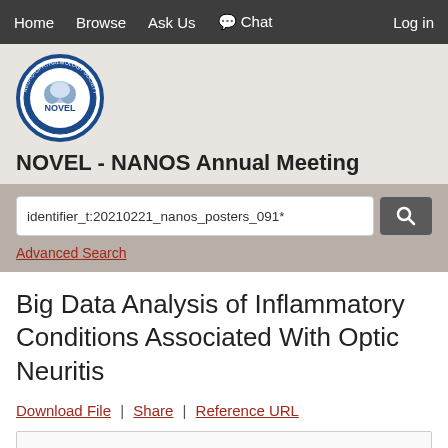Home  Browse  Ask Us  Chat  Log in
[Figure (logo): NOVEL - North American Neuro-Ophthalmology Society circular logo with brain image]
NOVEL - NANOS Annual Meeting
identifier_t:20210221_nanos_posters_091*
Advanced Search
Big Data Analysis of Inflammatory Conditions Associated With Optic Neuritis
Download File | Share | Reference URL